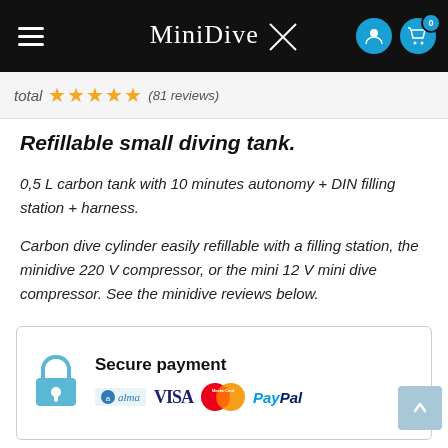MiniDive (navigation bar with hamburger menu, user icon, cart icon with badge 0)
total ★★★★½ (81 reviews)
Refillable small diving tank.
0,5 L carbon tank with 10 minutes autonomy + DIN filling station + harness.
Carbon dive cylinder easily refillable with a filling station, the minidive 220 V compressor, or the mini 12 V mini dive compressor. See the minidive reviews below.
Secure payment — Alma, VISA, MasterCard, PayPal